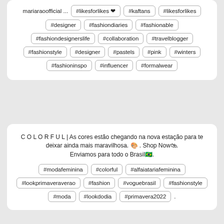mariaraoofficial ... #likesforlikes ❤ #kaftans #likesforlikes #designer #fashiondiaries #fashionable #fashiondesignerslife #collaboration #travelblogger #fashionstyle #designer #pastels #pink #winters #fashioninspo #influencer #formalwear
C O L O R F U L | As cores estão chegando na nova estação para te deixar ainda mais maravilhosa. 🎨 . Shop Now🛍. Enviamos para todo o Brasil🇧🇷. #modafeminina #colorful #alfaiatariafeminina #lookprimaveraverao #fashion #voguebrasil #fashionstyle #moda #lookdodia #primavera2022 .